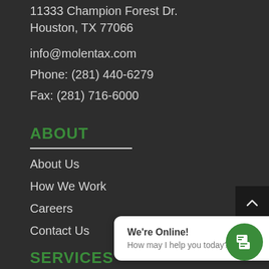11333 Champion Forest Dr.
Houston, TX 77066
info@molentax.com
Phone: (281) 440-6279
Fax: (281) 716-6000
ABOUT
About Us
How We Work
Careers
Contact Us
SERVICES
We're Online!
How may I help you today?